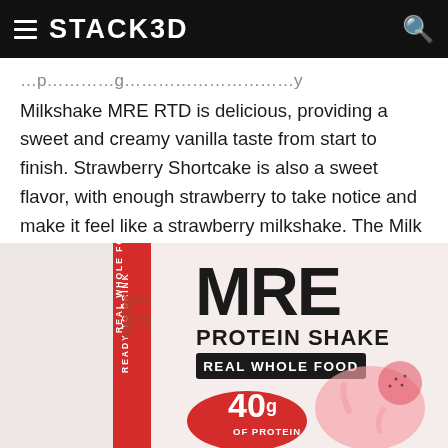STACK3D
Milkshake MRE RTD is delicious, providing a sweet and creamy vanilla taste from start to finish. Strawberry Shortcake is also a sweet flavor, with enough strawberry to take notice and make it feel like a strawberry milkshake. The Milk Chocolate MRE RTD is similar, with a great balance of rich chocolate and creamy consistency to feel like a milkshake.
[Figure (photo): MRE Protein Shake product can showing 'PROTEIN SHAKE', 'REAL WHOLE FOOD', and '40g OF PROTEIN' text with strawberry imagery and red branding]